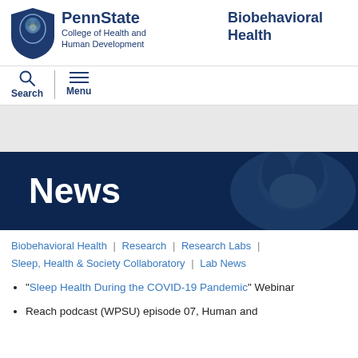[Figure (logo): Penn State shield logo with lion mascot in blue]
PennState College of Health and Human Development | Biobehavioral Health
Search | Menu
[Figure (photo): Gray banner area]
News
Biobehavioral Health | Research | Research Labs | Sleep, Health & Society Collaboratory | Lab News
"Sleep Health During the COVID-19 Pandemic" Webinar
Reach podcast (WPSU) episode 07, Human and